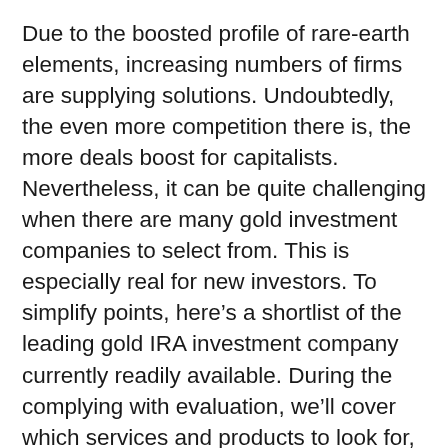Due to the boosted profile of rare-earth elements, increasing numbers of firms are supplying solutions. Undoubtedly, the even more competition there is, the more deals boost for capitalists. Nevertheless, it can be quite challenging when there are many gold investment companies to select from. This is especially real for new investors. To simplify points, here’s a shortlist of the leading gold IRA investment company currently readily available. During the complying with evaluation, we’ll cover which services and products to look for, to decide which company to invest with. Hereafter, you can begin to protect your economic future instantly.